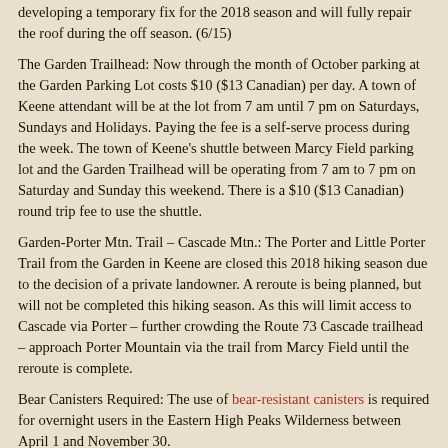developing a temporary fix for the 2018 season and will fully repair the roof during the off season. (6/15)
The Garden Trailhead: Now through the month of October parking at the Garden Parking Lot costs $10 ($13 Canadian) per day. A town of Keene attendant will be at the lot from 7 am until 7 pm on Saturdays, Sundays and Holidays. Paying the fee is a self-serve process during the week. The town of Keene's shuttle between Marcy Field parking lot and the Garden Trailhead will be operating from 7 am to 7 pm on Saturday and Sunday this weekend. There is a $10 ($13 Canadian) round trip fee to use the shuttle.
Garden-Porter Mtn. Trail – Cascade Mtn.: The Porter and Little Porter Trail from the Garden in Keene are closed this 2018 hiking season due to the decision of a private landowner. A reroute is being planned, but will not be completed this hiking season. As this will limit access to Cascade via Porter – further crowding the Route 73 Cascade trailhead – approach Porter Mountain via the trail from Marcy Field until the reroute is complete.
Bear Canisters Required: The use of bear-resistant canisters is required for overnight users in the Eastern High Peaks Wilderness between April 1 and November 30.
Owls Head: Owls Head in Keene is open to hikers mid-week only again this 2018 hiking season. The public is prohibited from parking on the private road leading to the trailhead between 4 pm Friday and 7 am Monday. The trail to the summit of Owls Head is not an official DEC trail nor is there an easement for public use of the trail. Public use of the trail is at the landowner's discretion.